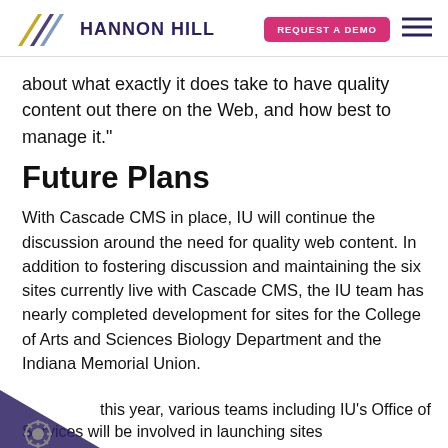HANNON HILL | REQUEST A DEMO
about what exactly it does take to have quality content out there on the Web, and how best to manage it."
Future Plans
With Cascade CMS in place, IU will continue the discussion around the need for quality web content. In addition to fostering discussion and maintaining the six sites currently live with Cascade CMS, the IU team has nearly completed development for sites for the College of Arts and Sciences Biology Department and the Indiana Memorial Union.
this year, various teams including IU's Office of Services will be involved in launching sites